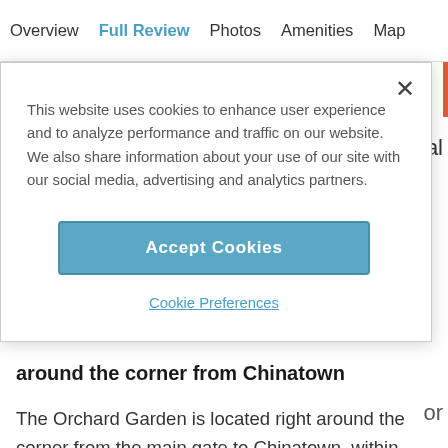Overview | Full Review | Photos | Amenities | Map
[Figure (screenshot): Cookie consent modal overlay with close button (×), cookie usage notice text, Accept Cookies button, and Cookie Preferences link]
This website uses cookies to enhance user experience and to analyze performance and traffic on our website. We also share information about your use of our site with our social media, advertising and analytics partners.
Accept Cookies
Cookie Preferences
around the corner from Chinatown
The Orchard Garden is located right around the corner from the main gate to Chinatown, within walking distance to the Financial District. The hotel is on a busy street filled